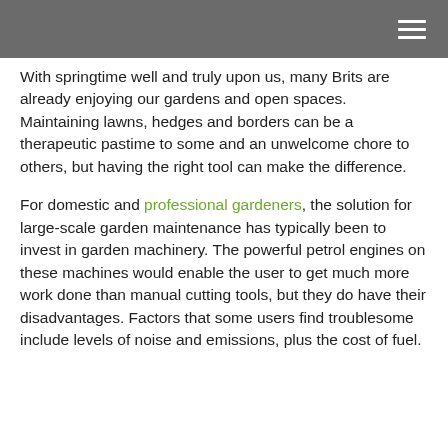≡
With springtime well and truly upon us, many Brits are already enjoying our gardens and open spaces. Maintaining lawns, hedges and borders can be a therapeutic pastime to some and an unwelcome chore to others, but having the right tool can make the difference.
For domestic and professional gardeners, the solution for large-scale garden maintenance has typically been to invest in garden machinery. The powerful petrol engines on these machines would enable the user to get much more work done than manual cutting tools, but they do have their disadvantages. Factors that some users find troublesome include levels of noise and emissions, plus the cost of fuel.